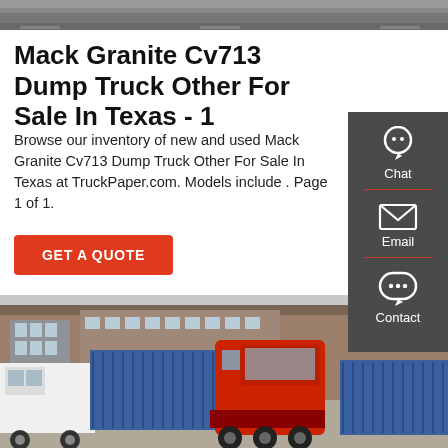[Figure (photo): Top strip showing a road/pavement surface, cropped photo at top of page]
Mack Granite Cv713 Dump Truck Other For Sale In Texas - 1
Browse our inventory of new and used Mack Granite Cv713 Dump Truck Other For Sale In Texas at TruckPaper.com. Models include . Page 1 of 1.
GET A QUOTE
[Figure (photo): Photo of commercial trucks parked in an industrial yard: a white truck on the left, blue cargo container trucks in the middle, and a red semi-truck cab on the right, with a large factory/warehouse building in the background]
[Figure (infographic): Dark grey sidebar on the right with three icons and labels: Chat (headset icon), Email (envelope icon), Contact (speech bubble icon), separated by red horizontal lines]